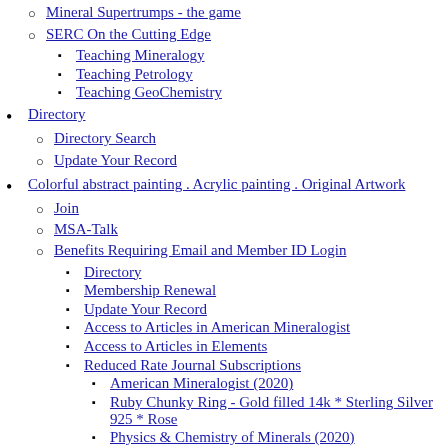Mineral Supertrumps - the game
SERC On the Cutting Edge
Teaching Mineralogy
Teaching Petrology
Teaching GeoChemistry
Directory
Directory Search
Update Your Record
Colorful abstract painting . Acrylic painting . Original Artwork
Join
MSA-Talk
Benefits Requiring Email and Member ID Login
Directory
Membership Renewal
Update Your Record
Access to Articles in American Mineralogist
Access to Articles in Elements
Reduced Rate Journal Subscriptions
American Mineralogist (2020)
Ruby Chunky Ring - Gold filled 14k * Sterling Silver 925 * Rose
Physics & Chemistry of Minerals (2020)
Journal of Petrology (2020)
Traditional Croatian Wooden Toys,